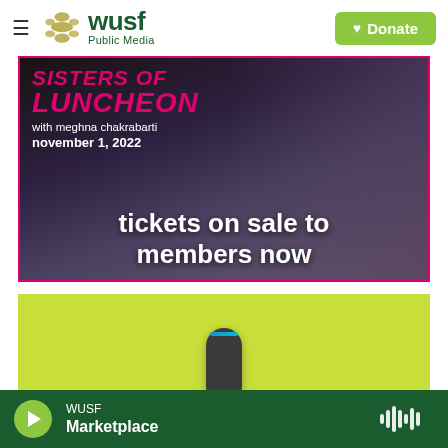[Figure (logo): WUSF Public Media logo with hamburger menu and Donate button]
[Figure (photo): WUSF Sisters of Luncheon promo with Meghna Chakrabarti, November 1, 2022, tickets on sale to members now]
[Figure (photo): Green background promo image with Amazon Echo/Alexa device]
[Figure (infographic): WUSF bottom player bar showing Marketplace currently playing with play button and waveform icon]